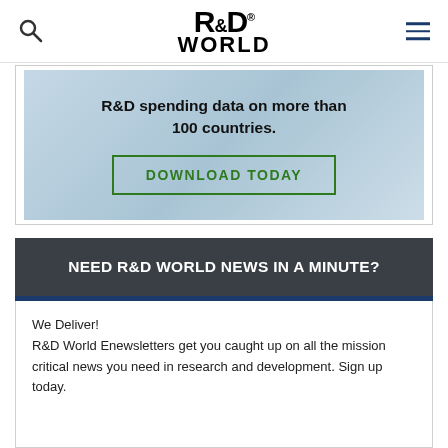R&D WORLD
[Figure (photo): Advertisement banner with blurred background showing hands, text: R&D spending data on more than 100 countries. DOWNLOAD TODAY button with green border.]
NEED R&D WORLD NEWS IN A MINUTE?
We Deliver!
R&D World Enewsletters get you caught up on all the mission critical news you need in research and development. Sign up today.